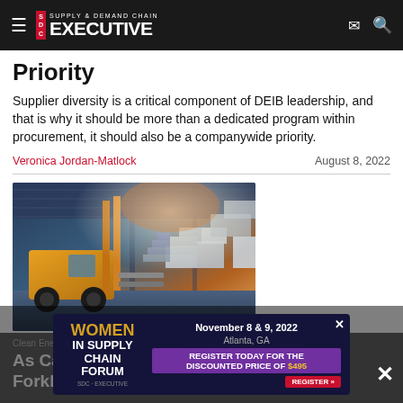Supply & Demand Chain Executive
Priority
Supplier diversity is a critical component of DEIB leadership, and that is why it should be more than a dedicated program within procurement, it should also be a companywide priority.
Veronica Jordan-Matlock    August 8, 2022
[Figure (photo): Forklift in a warehouse, yellow forklift with orange/warm lighting in background]
Clean Energy
As California Bans Diesel Forklifts, Expect a Faster Shift to Electric
[Figure (infographic): Advertisement banner for Women in Supply Chain Forum, November 8 & 9, 2022, Atlanta, GA. Register today for the discounted price of $495.]